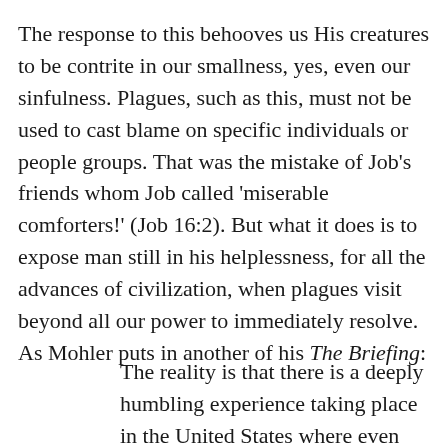The response to this behooves us His creatures to be contrite in our smallness, yes, even our sinfulness. Plagues, such as this, must not be used to cast blame on specific individuals or people groups. That was the mistake of Job's friends whom Job called 'miserable comforters!' (Job 16:2). But what it does is to expose man still in his helplessness, for all the advances of civilization, when plagues visit beyond all our power to immediately resolve. As Mohler puts in another of his The Briefing:
The reality is that there is a deeply humbling experience taking place in the United States where even those